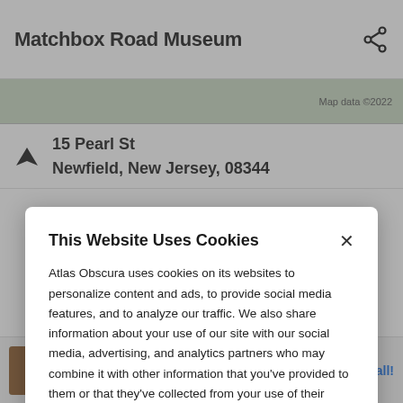Matchbox Road Museum
[Figure (screenshot): Map strip showing partial map with 'Map data ©2022' text]
15 Pearl St
Newfield, New Jersey, 08344
This Website Uses Cookies
Atlas Obscura uses cookies on its websites to personalize content and ads, to provide social media features, and to analyze our traffic. We also share information about your use of our site with our social media, advertising, and analytics partners who may combine it with other information that you've provided to them or that they've collected from your use of their services. By clicking "Accept Cookies", you are consenting to use of cookies as described in our Cookie Policy. View Cookie Policy
Manage Preferences
Allow Cookies
[Figure (screenshot): Bottom advertisement banner: BitLife - Life Simulator by Candywriter, LLC with Install button]